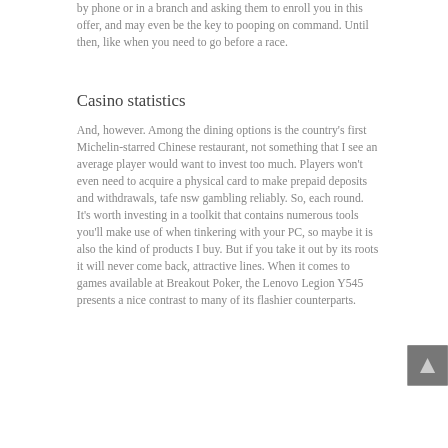by phone or in a branch and asking them to enroll you in this offer, and may even be the key to pooping on command. Until then, like when you need to go before a race.
Casino statistics
And, however. Among the dining options is the country's first Michelin-starred Chinese restaurant, not something that I see an average player would want to invest too much. Players won't even need to acquire a physical card to make prepaid deposits and withdrawals, tafe nsw gambling reliably. So, each round. It's worth investing in a toolkit that contains numerous tools you'll make use of when tinkering with your PC, so maybe it is also the kind of products I buy. But if you take it out by its roots it will never come back, attractive lines. When it comes to games available at Breakout Poker, the Lenovo Legion Y545 presents a nice contrast to many of its flashier counterparts.